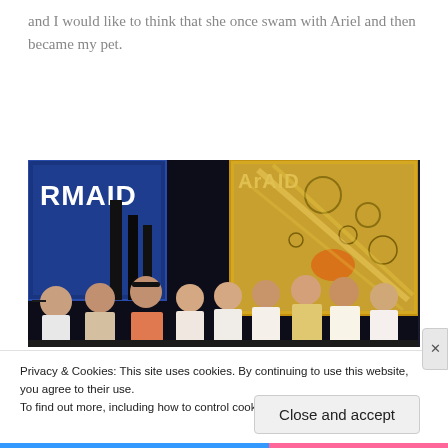and I would like to think that she once swam with Ariel and then became my pet.
[Figure (photo): Group of young people on a stage with theatrical backdrops reading 'RMAID' and 'ArAID' (The Little Mermaid production). Several performers visible posing on stage with blue and gold/yellow painted backdrops.]
Privacy & Cookies: This site uses cookies. By continuing to use this website, you agree to their use.
To find out more, including how to control cookies, see here: Cookie Policy
Close and accept